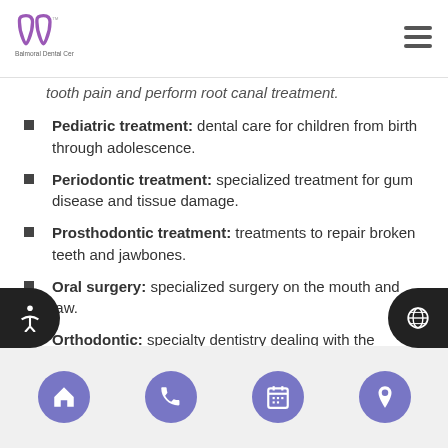Balmoral Dental Center
tooth pain and perform root canal treatment.
Pediatric treatment: dental care for children from birth through adolescence.
Periodontic treatment: specialized treatment for gum disease and tissue damage.
Prosthodontic treatment: treatments to repair broken teeth and jawbones.
Oral surgery: specialized surgery on the mouth and jaw.
Orthodontic: specialty dentistry dealing with the diagnosis, prevention, and correction of malpositioned teeth, jaws, and bites